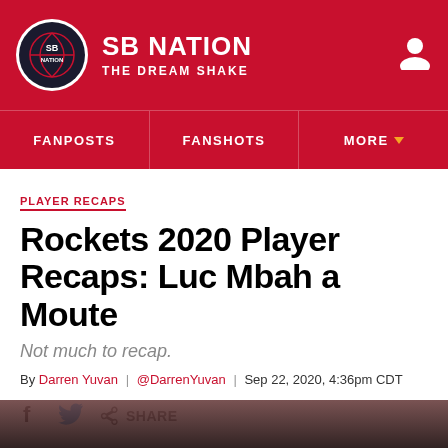SB NATION — THE DREAM SHAKE
PLAYER RECAPS
Rockets 2020 Player Recaps: Luc Mbah a Moute
Not much to recap.
By Darren Yuvan | @DarrenYuvan | Sep 22, 2020, 4:36pm CDT
[Figure (photo): Dark crowd photo strip at bottom of page]